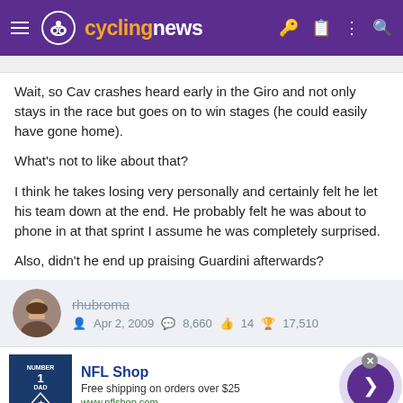cyclingnews
Wait, so Cav crashes heard early in the Giro and not only stays in the race but goes on to win stages (he could easily have gone home).
What's not to like about that?
I think he takes losing very personally and certainly felt he let his team down at the end. He probably felt he was about to phone in at that sprint I assume he was completely surprised.
Also, didn't he end up praising Guardini afterwards?
rhubroma  Apr 2, 2009  8,660  14  17,510
[Figure (screenshot): NFL Shop advertisement banner with jersey image, Free shipping on orders over $25, www.nflshop.com]